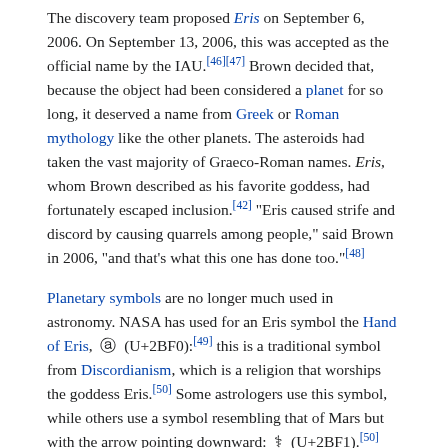The discovery team proposed Eris on September 6, 2006. On September 13, 2006, this was accepted as the official name by the IAU.[46][47] Brown decided that, because the object had been considered a planet for so long, it deserved a name from Greek or Roman mythology like the other planets. The asteroids had taken the vast majority of Graeco-Roman names. Eris, whom Brown described as his favorite goddess, had fortunately escaped inclusion.[42] "Eris caused strife and discord by causing quarrels among people," said Brown in 2006, "and that's what this one has done too."[48]
Planetary symbols are no longer much used in astronomy. NASA has used for an Eris symbol the Hand of Eris, ⯐ (U+2BF0):[49] this is a traditional symbol from Discordianism, which is a religion that worships the goddess Eris.[50] Some astrologers use this symbol, while others use a symbol resembling that of Mars but with the arrow pointing downward: ⯱ (U+2BF1).[50] Both symbols have been included in Unicode.[51]
Classification[]
[Figure (infographic): A dark astronomical chart showing the scattered disk region of the solar system with red tick marks and labels along a ruler-like scale, with 'Scattered disk' label visible at bottom right.]